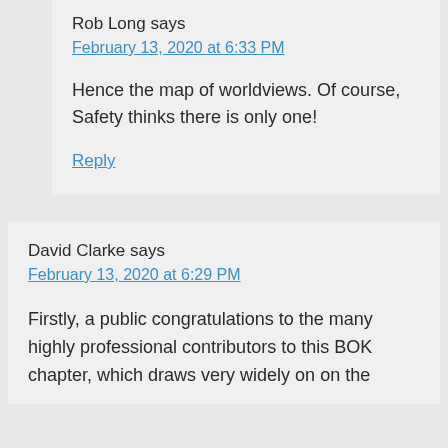Rob Long says
February 13, 2020 at 6:33 PM
Hence the map of worldviews. Of course, Safety thinks there is only one!
Reply
David Clarke says
February 13, 2020 at 6:29 PM
Firstly, a public congratulations to the many highly professional contributors to this BOK chapter, which draws very widely on on the